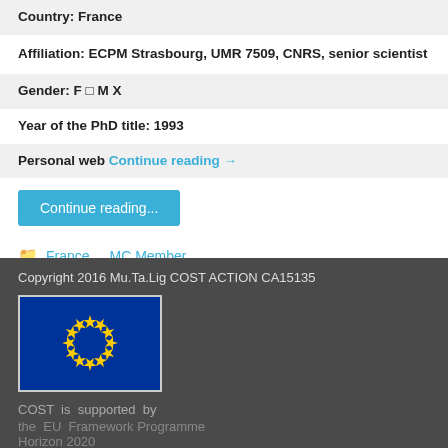Country: France
Affiliation: ECPM Strasbourg, UMR 7509, CNRS, senior scientist
Gender: F □ M X
Year of the PhD title: 1993
Personal web Continue reading →
Continue reading...
France, MC Member
Copyright 2016 Mu.Ta.Lig COST ACTION CA15135
[Figure (illustration): European Union flag: blue background with circle of 12 yellow stars]
COST is supported by the EU Framework Programme Horizon 2020